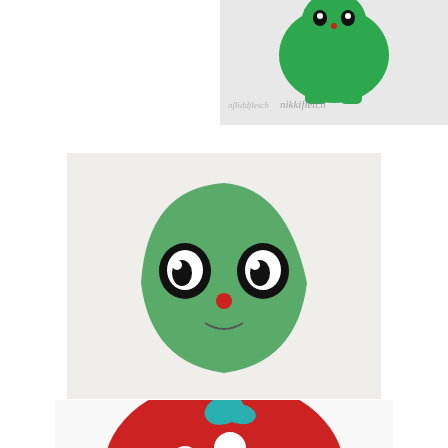[Figure (photo): Close-up of a green kawaii toy figure with a watermark reading 'nikkifletch' on a light background]
[Figure (photo): A green triangle-shaped kawaii clay figure with large black and white anime eyes and a small red nose/dot, set against a light paper background]
[Figure (photo): A red mushroom-shaped kawaii toy/figure with white polka dots and a teal leaf on top, with a cute face on the bottom, on a white background]